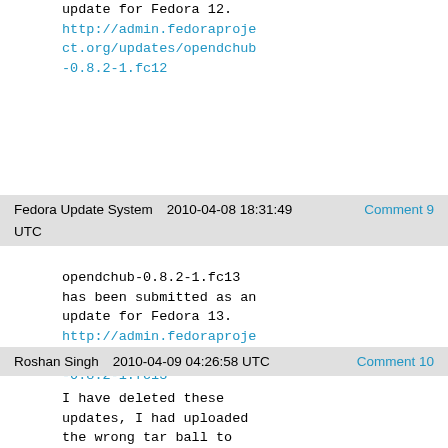update for Fedora 12.
http://admin.fedoraproject.org/updates/opendchub-0.8.2-1.fc12
Fedora Update System   2010-04-08 18:31:49   Comment 9
UTC
opendchub-0.8.2-1.fc13 has been submitted as an update for Fedora 13.
http://admin.fedoraproject.org/updates/opendchub-0.8.2-1.fc13
Roshan Singh   2010-04-09 04:26:58 UTC   Comment 10
I have deleted these updates, I had uploaded the wrong tar ball to sourceforge, luckily nobody had downloaded it